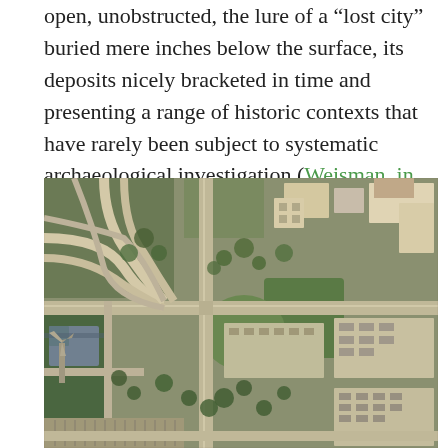open, unobstructed, the lure of a “lost city” buried mere inches below the surface, its deposits nicely bracketed in time and presenting a range of historic contexts that have rarely been subject to systematic archaeological investigation (Weisman, in press).
[Figure (photo): Aerial satellite photograph of an urban area showing roads, intersections, buildings, green spaces, and a highway interchange.]